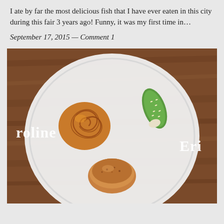I ate by far the most delicious fish that I have ever eaten in this city during this fair 3 years ago! Funny, it was my first time in...
September 17, 2015 — Comment 1
[Figure (photo): Overhead photo of a white round plate on a brown wooden surface with three food items: a spiral flaky pastry on the left, a green stuffed pepper with sesame seeds on the upper right, and a browned scallop or bun at the bottom. Text overlaid on the photo reads 'roline' on the left and 'Eri' on the right.]